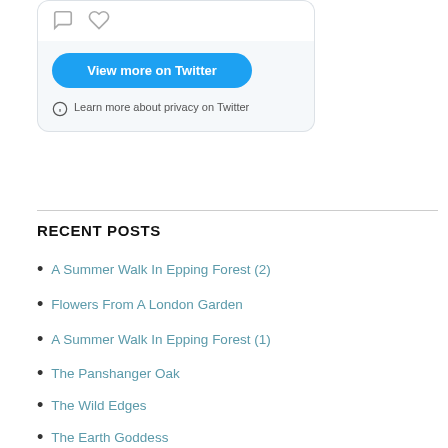[Figure (screenshot): Twitter embedded widget showing interaction icons at top, a light gray background area with a blue 'View more on Twitter' button, and a privacy notice with info icon reading 'Learn more about privacy on Twitter']
RECENT POSTS
A Summer Walk In Epping Forest (2)
Flowers From A London Garden
A Summer Walk In Epping Forest (1)
The Panshanger Oak
The Wild Edges
The Earth Goddess